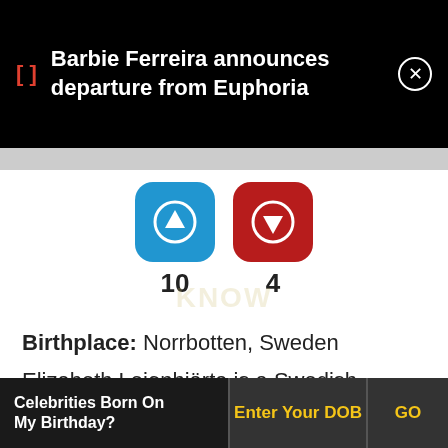Barbie Ferreira announces departure from Euphoria
[Figure (infographic): Two voting buttons: blue upvote button with up arrow (score: 10) and red downvote button with down arrow (score: 4)]
Birthplace: Norrbotten, Sweden
Elizabeth Lejonhjärta is a Swedish model, writer, blogger, and social media personality. Elizabeth and her twin sister Victoria Lejonhjärta achieved international fame when they collaborated with popular Canadian rapper Drake for his 2016 album Views. Popularly known as the it girls in Sweden
Celebrities Born On My Birthday?  Enter Your DOB  GO